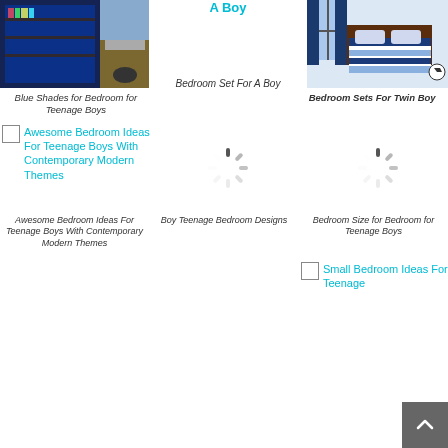[Figure (photo): Photo of a teen boy bedroom with blue bookshelves and desk with computer]
A Boy
[Figure (photo): Photo of a navy blue striped bedding set for a boy]
Blue Shades for Bedroom for Teenage Boys
Bedroom Set For A Boy
Bedroom Sets For Twin Boy
[Figure (illustration): Broken image placeholder with teal link text for Awesome Bedroom Ideas For Teenage Boys With Contemporary Modern Themes]
[Figure (illustration): Loading spinner image placeholder]
[Figure (illustration): Loading spinner image placeholder]
Awesome Bedroom Ideas For Teenage Boys With Contemporary Modern Themes
Boy Teenage Bedroom Designs
Bedroom Size for Bedroom for Teenage Boys
[Figure (illustration): Broken image placeholder with teal link text for Small Bedroom Ideas For Teenage]
Small Bedroom Ideas For Teenage